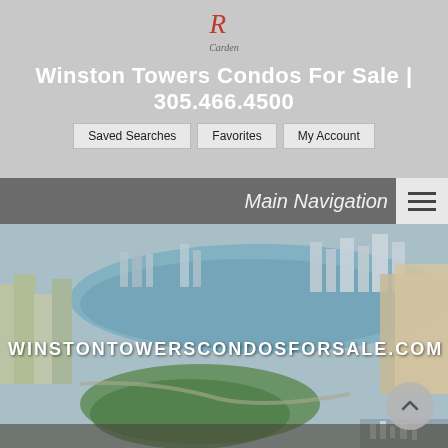[Figure (logo): Carden real estate logo — stylized R with 'Carden' text below]
Winston Towers Condos For Sale | 305.466.4500
Saved Searches
Favorites
My Account
Main Navigation
[Figure (photo): Aerial panoramic photo of Winston Towers area showing waterway, high-rise condos, greenery, marina, and ocean in background. Text overlay: WINSTONTOWERSCONDOSFORSALE.COM]